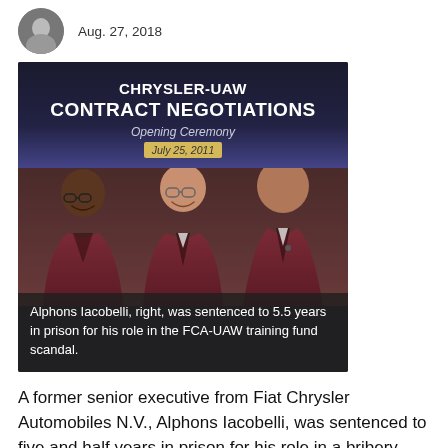Aug. 27, 2018
[Figure (photo): Three men in dark maroon jackets standing in front of a Chrysler-UAW Contract Negotiations Opening Ceremony banner dated July 25, 2011. Caption identifies Alphons Iacobelli on the right.]
Alphons Iacobelli, right, was sentenced to 5.5 years in prison for his role in the FCA-UAW training fund scandal.
A former senior executive from Fiat Chrysler Automobiles N.V., Alphons Iacobelli, was sentenced to five and half years in prison for his role in a bribery scheme aimed at influencing decisions by the United